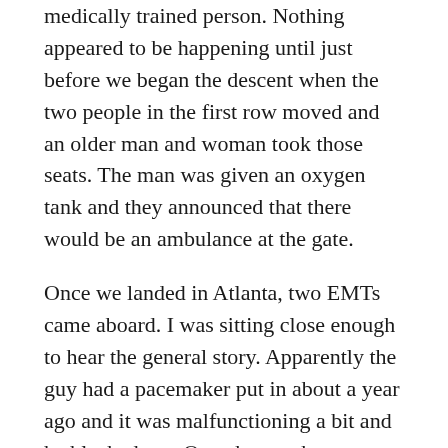medically trained person. Nothing appeared to be happening until just before we began the descent when the two people in the first row moved and an older man and woman took those seats. The man was given an oxygen tank and they announced that there would be an ambulance at the gate.
Once we landed in Atlanta, two EMTs came aboard. I was sitting close enough to hear the general story. Apparently the guy had a pacemaker put in about a year ago and it was malfunctioning a bit and he blacked out. Once he got the oxygen, he appeared to be doing much better and was probably ok by the time we landed. And even with waiting for the EMTs to take him off, we still were out early (presumably we had cut all the lines to get to the ground).
The gate for the next flight was only a few down, so I walked around a bit checking out all the food. I